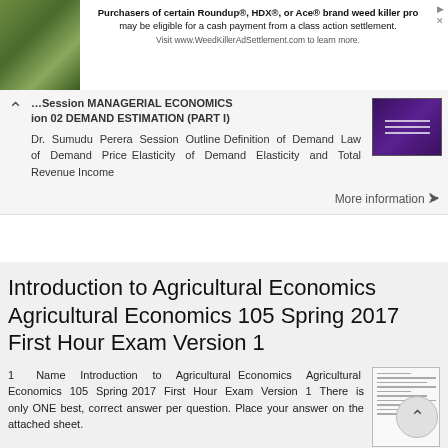[Figure (screenshot): Advertisement banner: photo of yellow flowers on left; text reads 'Purchasers of certain Roundup®, HDX®, or Ace® brand weed killer products may be eligible for a cash payment from a class action settlement. Visit www.WeedKillerAdSettlement.com to learn more.']
Session 02 DEMAND ESTIMATION (PART I)
Dr. Sumudu Perera Session Outline Definition of Demand Law of Demand Price Elasticity of Demand Elasticity and Total Revenue Income
More information →
Introduction to Agricultural Economics Agricultural Economics 105 Spring 2017 First Hour Exam Version 1
1 Name Introduction to Agricultural Economics Agricultural Economics 105 Spring 2017 First Hour Exam Version 1 There is only ONE best, correct answer per question. Place your answer on the attached sheet.